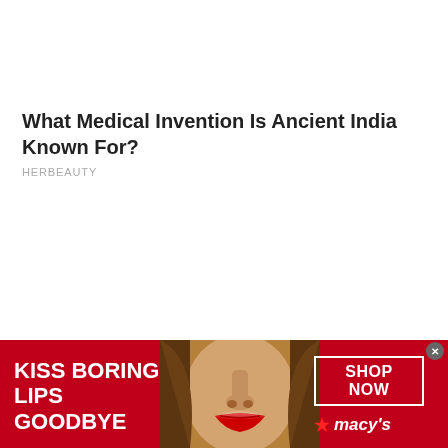What Medical Invention Is Ancient India Known For?
HERBEAUTY
[Figure (infographic): Advertisement banner for Macy's lipstick. Red background with a woman's face showing red lips in the center. Left side reads 'KISS BORING LIPS GOODBYE' in bold white text. Right side shows a 'SHOP NOW' button and Macy's logo with star.]